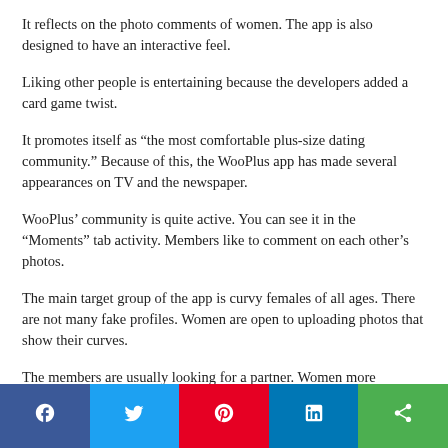It reflects on the photo comments of women. The app is also designed to have an interactive feel.
Liking other people is entertaining because the developers added a card game twist.
It promotes itself as “the most comfortable plus-size dating community.” Because of this, the WooPlus app has made several appearances on TV and the newspaper.
WooPlus’ community is quite active. You can see it in the “Moments” tab activity. Members like to comment on each other’s photos.
The main target group of the app is curvy females of all ages. There are not many fake profiles. Women are open to uploading photos that show their curves.
The members are usually looking for a partner. Women more
[Figure (infographic): Social sharing bar with Facebook, Twitter, Pinterest, LinkedIn, and share buttons]